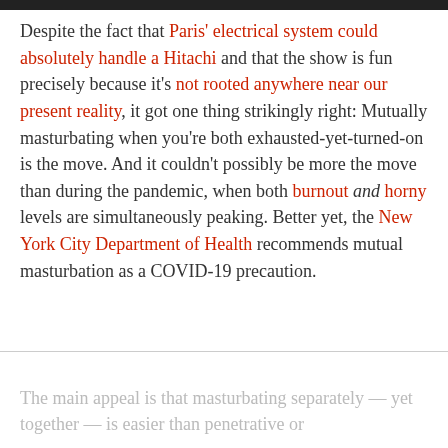Despite the fact that Paris' electrical system could absolutely handle a Hitachi and that the show is fun precisely because it's not rooted anywhere near our present reality, it got one thing strikingly right: Mutually masturbating when you're both exhausted-yet-turned-on is the move. And it couldn't possibly be more the move than during the pandemic, when both burnout and horny levels are simultaneously peaking. Better yet, the New York City Department of Health recommends mutual masturbation as a COVID-19 precaution.
The main appeal is that masturbating separately — yet together — is easier than penetrative or